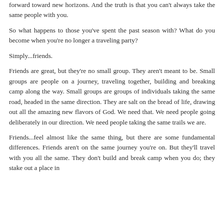forward toward new horizons. And the truth is that you can't always take the same people with you.
So what happens to those you've spent the past season with? What do you become when you're no longer a traveling party?
Simply...friends.
Friends are great, but they're no small group. They aren't meant to be. Small groups are people on a journey, traveling together, building and breaking camp along the way. Small groups are groups of individuals taking the same road, headed in the same direction. They are salt on the bread of life, drawing out all the amazing new flavors of God. We need that. We need people going deliberately in our direction. We need people taking the same trails we are.
Friends...feel almost like the same thing, but there are some fundamental differences. Friends aren't on the same journey you're on. But they'll travel with you all the same. They don't build and break camp when you do; they stake out a place in